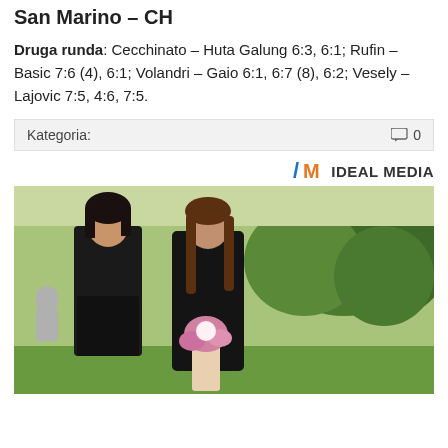San Marino – CH
Druga runda: Cecchinato – Huta Galung 6:3, 6:1; Rufin – Basic 7:6 (4), 6:1; Volandri – Gaio 6:1, 6:7 (8), 6:2; Vesely – Lajovic 7:5, 4:6, 7:5.
Kategoria:
0
[Figure (logo): Ideal Media logo with stylized M icon in blue and orange]
[Figure (photo): Two women dressed in black standing in a cemetery, one holding pink flowers, surrounded by green trees]